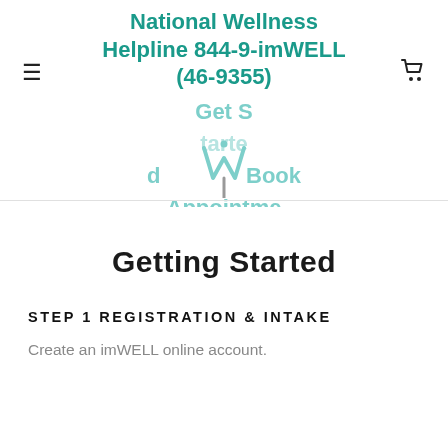National Wellness Helpline 844-9-imWELL (46-9355)
[Figure (logo): imWELL logo mark: stylized W with person figure]
Getting Started
STEP 1 REGISTRATION & INTAKE
Create an imWELL online account.